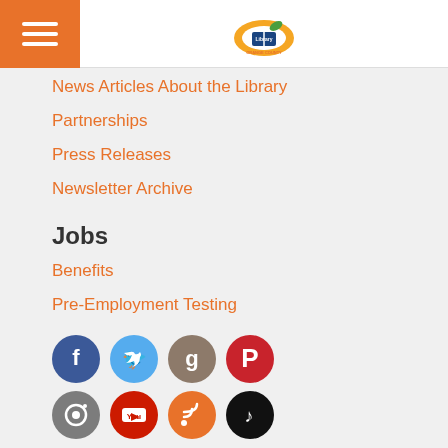Orange County Library System
News Articles About the Library
Partnerships
Press Releases
Newsletter Archive
Jobs
Benefits
Pre-Employment Testing
[Figure (infographic): Row of 8 social media icons: Facebook (blue), Twitter (light blue), Goodreads (gray), Pinterest (red), Instagram (gray), YouTube (red), RSS (orange), TikTok (black)]
Support the Library
Donate
Friends of the Library
Volunteer